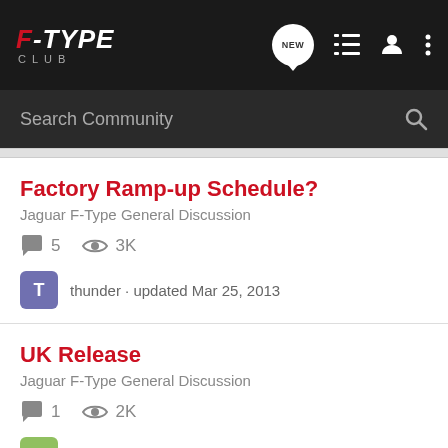F-TYPE CLUB
Search Community
Factory Ramp-up Schedule?
Jaguar F-Type General Discussion
5 comments · 3K views · thunder · updated Mar 25, 2013
UK Release
Jaguar F-Type General Discussion
1 comment · 2K views · kram · updated Apr 25, 2013